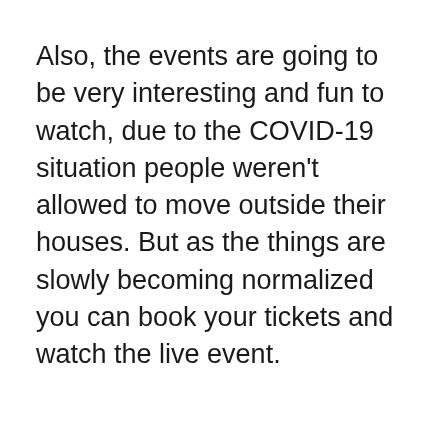Also, the events are going to be very interesting and fun to watch, due to the COVID-19 situation people weren't allowed to move outside their houses. But as the things are slowly becoming normalized you can book your tickets and watch the live event.